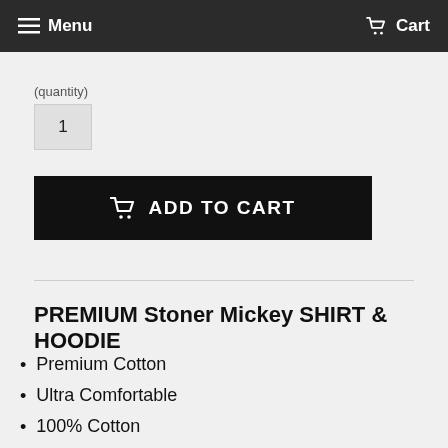Menu   Cart
1
ADD TO CART
PREMIUM Stoner Mickey SHIRT & HOODIE
Premium Cotton
Ultra Comfortable
100% Cotton
Very Soft
Elastane Rib Crew Neck